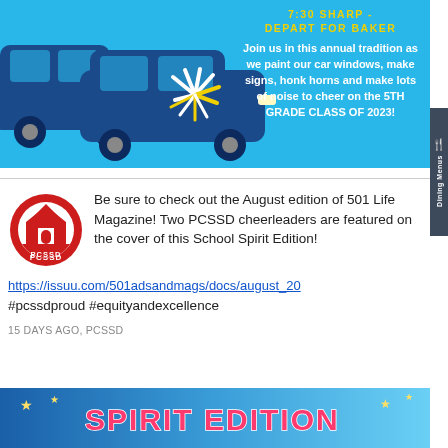[Figure (illustration): Light blue banner with illustrated dark blue cars and a colorful pom-pom, with yellow text '7:30 SHARP - DEPART FOR BAKER' and white bold text 'Join us in this annual tradition as we paint our car windows, make signs, honk horns and make lots of noise to cheer on the 5TH GRADE CLASS OF 2023!']
Be sure to check out the August edition of 501 Life Magazine! Two PCSSD cheerleaders are featured on the cover of this School Spirit Edition!
https://issuu.com/501adsandmags/docs/august_20
#pcssdproud #equityandexcellence
15 DAYS AGO, PCSSD
[Figure (illustration): Bottom strip showing partial text 'SPIRIT EDITION' in large colorful letters on a blue background with stars and festive design]